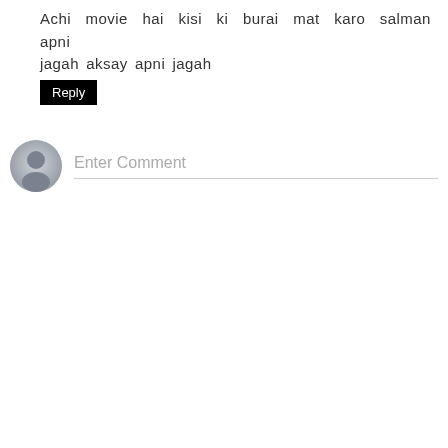Achi movie hai kisi ki burai mat karo salman apni jagah aksay apni jagah
Reply
[Figure (other): User avatar placeholder icon (grey silhouette on light grey circle) with an Enter Comment input field below, separated by a horizontal line]